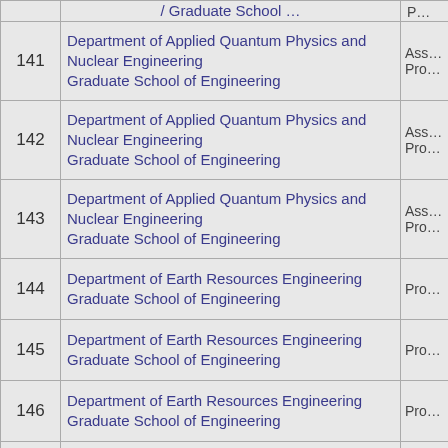| # | Department / Graduate School | Rank |
| --- | --- | --- |
| 141 | Department of Applied Quantum Physics and Nuclear Engineering
Graduate School of Engineering | Ass… Pro… |
| 142 | Department of Applied Quantum Physics and Nuclear Engineering
Graduate School of Engineering | Ass… Pro… |
| 143 | Department of Applied Quantum Physics and Nuclear Engineering
Graduate School of Engineering | Ass… Pro… |
| 144 | Department of Earth Resources Engineering
Graduate School of Engineering | Pro… |
| 145 | Department of Earth Resources Engineering
Graduate School of Engineering | Pro… |
| 146 | Department of Earth Resources Engineering
Graduate School of Engineering | Pro… |
| 147 | Department of Earth Resources Engineering | Pro… |